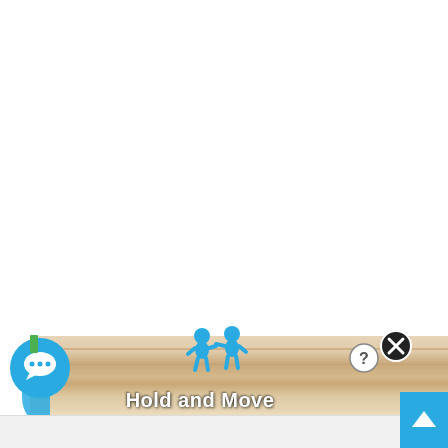[Figure (screenshot): A UI screenshot showing a mostly white/blank upper area and at the bottom a wooden shelf interface element with the text 'Hold and Move', two blue 3D human figures on the shelf, a teal chat bubble button on the lower left with a green status indicator, a help (?) button, a close (X) button, and a blue scroll-up arrow button on the lower right.]